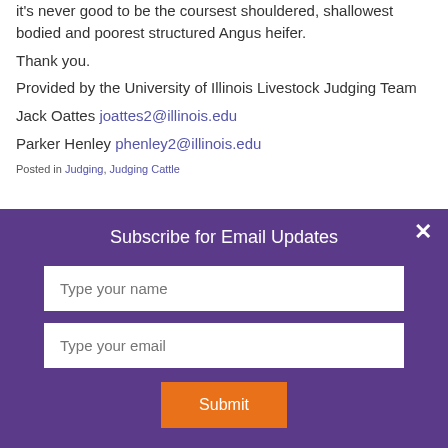it's never good to be the coursest shouldered, shallowest bodied and poorest structured Angus heifer.
Thank you.
Provided by the University of Illinois Livestock Judging Team
Jack Oattes joattes2@illinois.edu
Parker Henley phenley2@illinois.edu
Posted in Judging, Judging Cattle
Subscribe for Email Updates
Type your name
Type your email
Submit